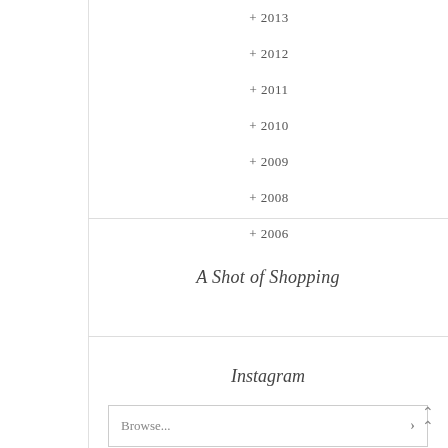+ 2013
+ 2012
+ 2011
+ 2010
+ 2009
+ 2008
+ 2006
A Shot of Shopping
Instagram
Browse...